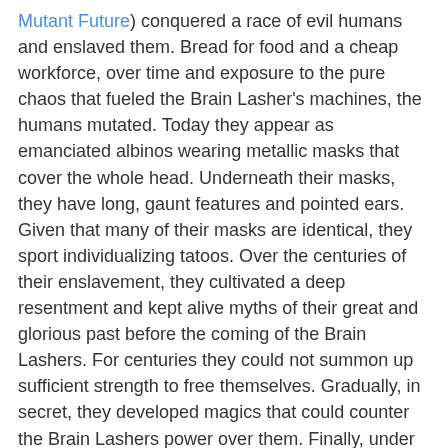Mutant Future) conquered a race of evil humans and enslaved them. Bread for food and a cheap workforce, over time and exposure to the pure chaos that fueled the Brain Lasher's machines, the humans mutated. Today they appear as emanciated albinos wearing metallic masks that cover the whole head. Underneath their masks, they have long, gaunt features and pointed ears. Given that many of their masks are identical, they sport individualizing tatoos. Over the centuries of their enslavement, they cultivated a deep resentment and kept alive myths of their great and glorious past before the coming of the Brain Lashers. For centuries they could not summon up sufficient strength to free themselves. Gradually, in secret, they developed magics that could counter the Brain Lashers power over them. Finally, under the leadership of a man named Cyn, they rebelled against their captors. After a long and bloody struggle, they succeeded in gaining their freedom; however, the very magic that allowed them to break from their yoke drove them insane. The unity they forged under the leadership of Cyn was shattered. In the chaos of the infighting, Cyn himself disappeared.